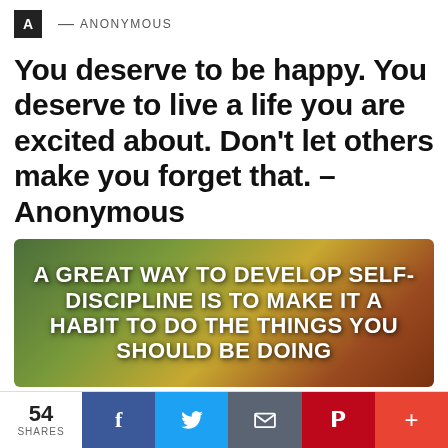A — ANONYMOUS
You deserve to be happy. You deserve to live a life you are excited about. Don't let others make you forget that. – Anonymous
[Figure (illustration): Motivational quote image with nature background (butterfly/flowers) and bold white text: 'A GREAT WAY TO DEVELOP SELF-DISCIPLINE IS TO MAKE IT A HABIT TO DO THE THINGS YOU SHOULD BE DOING']
54 SHARES | Facebook share | Twitter share | Email share | Pinterest share | More